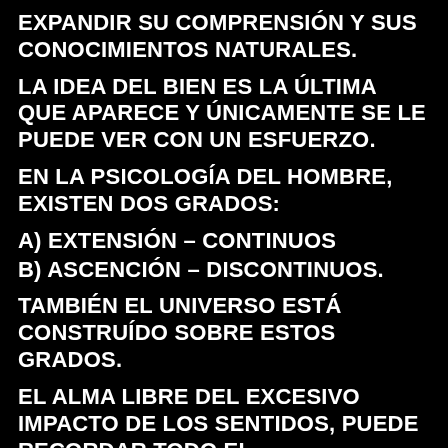EXPANDIR SU COMPRENSIÓN Y SUS CONOCIMIENTOS NATURALES.
LA IDEA DEL BIEN ES LA ÚLTIMA QUE APARECE Y ÚNICAMENTE SE LE PUEDE VER CON UN ESFUERZO.
EN LA PSICOLOGÍA DEL HOMBRE, EXISTEN DOS GRADOS:
A) EXTENSIÓN – CONTINUOS
B) ASCENCIÓN – DISCONTINUOS.
TAMBIÉN EL UNIVERSO ESTÁ CONSTRUÍDO SOBRE ESTOS GRADOS.
EL ALMA LIBRE DEL EXCESIVO IMPACTO DE LOS SENTIDOS, PUEDE RECORDAR TODO EL CONOCIMIENTO QUE HAY EN ELLA.
TODO EL TIEMPO EXISTE EN UN PERÍODO DEL